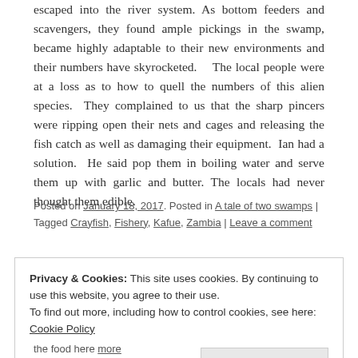escaped into the river system. As bottom feeders and scavengers, they found ample pickings in the swamp, became highly adaptable to their new environments and their numbers have skyrocketed. The local people were at a loss as to how to quell the numbers of this alien species. They complained to us that the sharp pincers were ripping open their nets and cages and releasing the fish catch as well as damaging their equipment. Ian had a solution. He said pop them in boiling water and serve them up with garlic and butter. The locals had never thought them edible.
Posted on January 18, 2017. Posted in A tale of two swamps | Tagged Crayfish, Fishery, Kafue, Zambia | Leave a comment
Privacy & Cookies: This site uses cookies. By continuing to use this website, you agree to their use. To find out more, including how to control cookies, see here: Cookie Policy
Close and accept
the food here